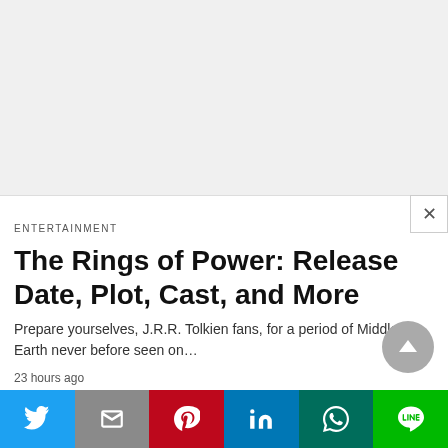[Figure (other): Gray advertisement or placeholder area at top of page with close button (X) in top right corner]
ENTERTAINMENT
The Rings of Power: Release Date, Plot, Cast, and More
Prepare yourselves, J.R.R. Tolkien fans, for a period of Middle Earth never before seen on…
23 hours ago
[Figure (infographic): Social media share bar with 6 buttons: Twitter (blue), Gmail/Email (gray with M), Pinterest (red), LinkedIn (blue), WhatsApp (teal/green), LINE (green)]